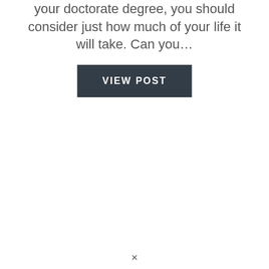your doctorate degree, you should consider just how much of your life it will take. Can you…
VIEW POST
×